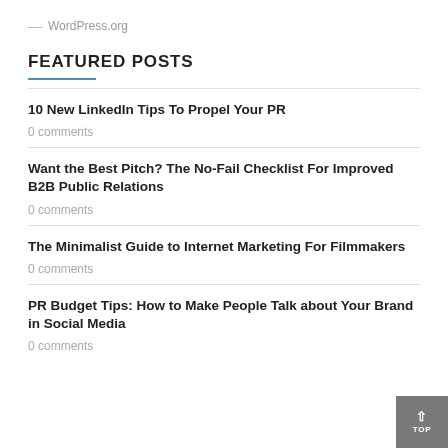— WordPress.org
FEATURED POSTS
10 New LinkedIn Tips To Propel Your PR
0 comments
Want the Best Pitch? The No-Fail Checklist For Improved B2B Public Relations
0 comments
The Minimalist Guide to Internet Marketing For Filmmakers
0 comments
PR Budget Tips: How to Make People Talk about Your Brand in Social Media
0 comments